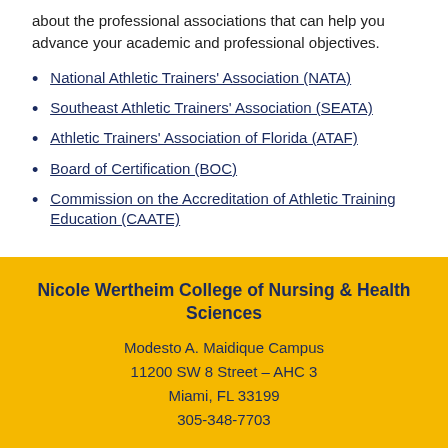about the professional associations that can help you advance your academic and professional objectives.
National Athletic Trainers' Association (NATA)
Southeast Athletic Trainers' Association (SEATA)
Athletic Trainers' Association of Florida (ATAF)
Board of Certification (BOC)
Commission on the Accreditation of Athletic Training Education (CAATE)
Nicole Wertheim College of Nursing & Health Sciences
Modesto A. Maidique Campus
11200 SW 8 Street – AHC 3
Miami, FL 33199
305-348-7703